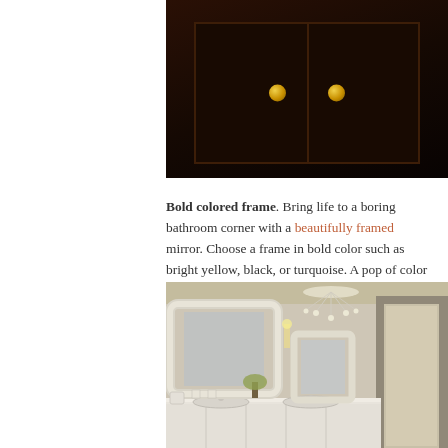[Figure (photo): Dark wooden cabinet doors with two golden/yellow round knobs against a very dark brown background]
Bold colored frame. Bring life to a boring bathroom corner with a beautifully framed mirror. Choose a frame in bold color such as bright yellow, black, or turquoise. A pop of color can awaken those sleepy heads in the morning.
[Figure (photo): Elegant bathroom with white ornate framed mirror, crystal chandelier, white double vanity with sinks, candles, and a doorway leading to another room]